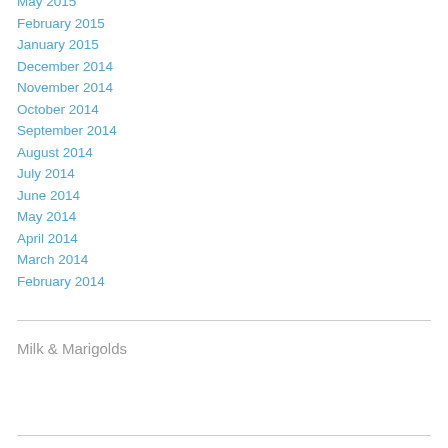May 2015
February 2015
January 2015
December 2014
November 2014
October 2014
September 2014
August 2014
July 2014
June 2014
May 2014
April 2014
March 2014
February 2014
Milk & Marigolds